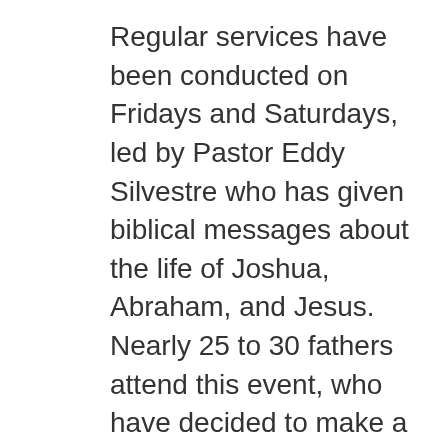Regular services have been conducted on Fridays and Saturdays, led by Pastor Eddy Silvestre who has given biblical messages about the life of Joshua, Abraham, and Jesus. Nearly 25 to 30 fathers attend this event, who have decided to make a change in their way of living and thinking, because now they pray before serving their food, and they are more affectionate with their children and their wives.

On Thursdays, Fridays and